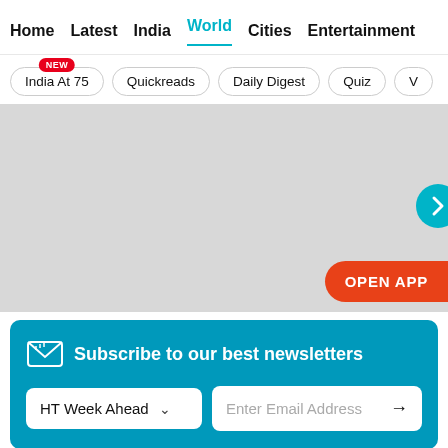Home  Latest  India  World  Cities  Entertainment
India At 75 (NEW)  Quickreads  Daily Digest  Quiz  V
[Figure (other): Gray placeholder banner area with teal circle chevron button on right edge and red OPEN APP button at bottom right]
Subscribe to our best newsletters
HT Week Ahead  ∨  Enter Email Address  →